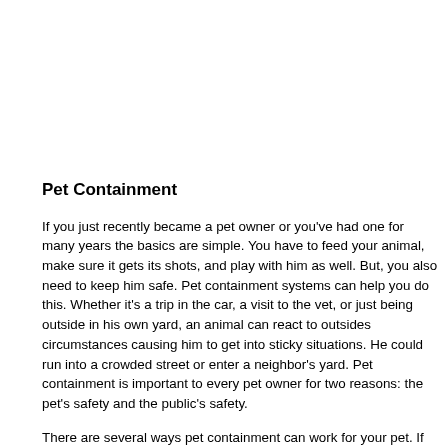Pet Containment
If you just recently became a pet owner or you've had one for many years the basics are simple. You have to feed your animal, make sure it gets its shots, and play with him as well. But, you also need to keep him safe. Pet containment systems can help you do this. Whether it's a trip in the car, a visit to the vet, or just being outside in his own yard, an animal can react to outsides circumstances causing him to get into sticky situations. He could run into a crowded street or enter a neighbor's yard. Pet containment is important to every pet owner for two reasons: the pet's safety and the public's safety.
There are several ways pet containment can work for your pet. If you have a small animal, a carrier is often the most obvious and easiest method for transportation to and from areas. But, larger dogs require bigger guns. For instance using a muzzle may help ensure your dog doesn't bite anyone. Also, many pet owners use pet containment in their cars and vans to transport animals. Even such things as simply using gates to make sure the animal